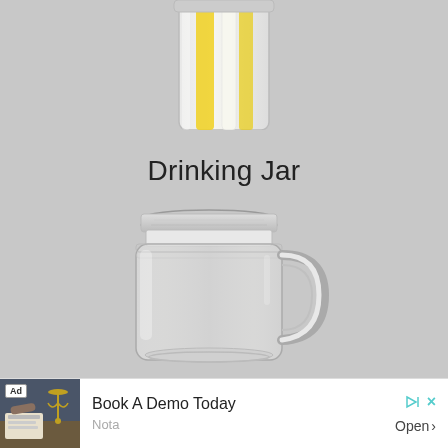[Figure (photo): Partial top view of a glass jar or cup with yellow and white straws or decorative elements inside, against a light gray background]
Drinking Jar
[Figure (photo): Clear glass mason drinking jar with handle, empty, against light gray background]
[Figure (other): Advertisement banner: 'Book A Demo Today' by Nota, showing an image of a legal scene with scales of justice. Contains Ad label, play/skip icons, and Open button.]